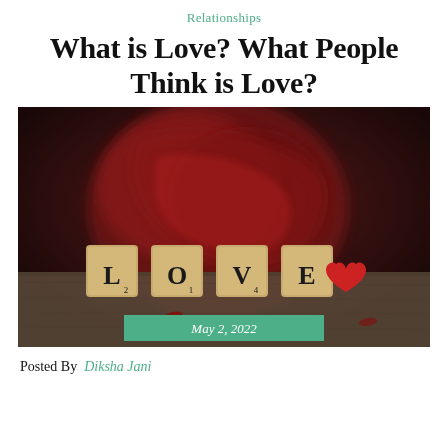Relationships
What is Love? What People Think is Love?
[Figure (photo): Scrabble tiles spelling LOVE with a small red heart beside them, set on a wooden surface with blurred red roses in the background. A green banner overlay at the bottom reads 'May 2, 2022'.]
Posted By  Diksha Jani